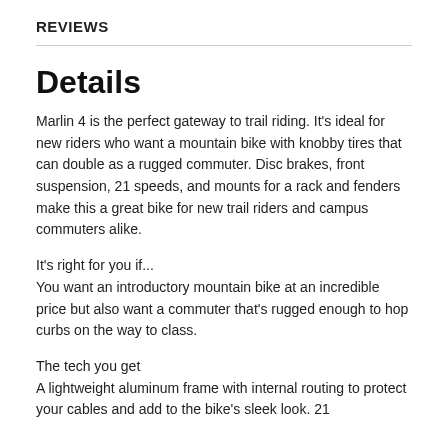REVIEWS
Details
Marlin 4 is the perfect gateway to trail riding. It's ideal for new riders who want a mountain bike with knobby tires that can double as a rugged commuter. Disc brakes, front suspension, 21 speeds, and mounts for a rack and fenders make this a great bike for new trail riders and campus commuters alike.
It's right for you if...
You want an introductory mountain bike at an incredible price but also want a commuter that's rugged enough to hop curbs on the way to class.
The tech you get
A lightweight aluminum frame with internal routing to protect your cables and add to the bike's sleek look. 21